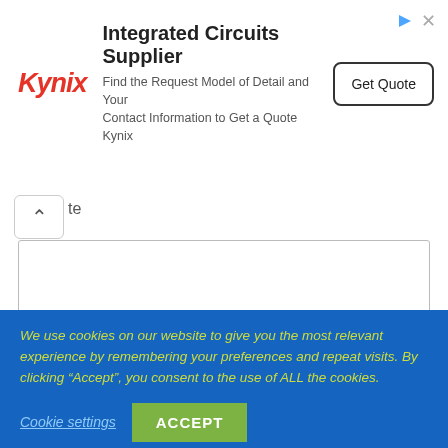[Figure (screenshot): Kynix Integrated Circuits Supplier advertisement banner with logo, tagline, and Get Quote button]
te
(text input area for comment)
Save my name, email, and website in this browser for the next time I comment.
POST COMMENT
We use cookies on our website to give you the most relevant experience by remembering your preferences and repeat visits. By clicking “Accept”, you consent to the use of ALL the cookies.
Cookie settings
ACCEPT